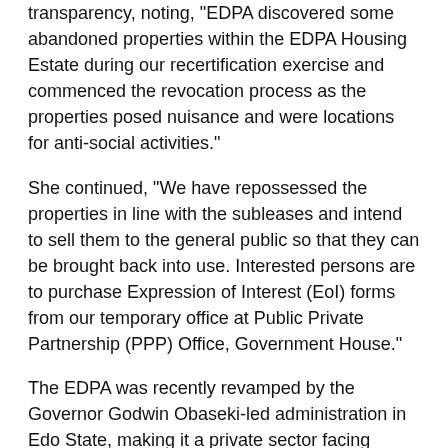transparency, noting, "EDPA discovered some abandoned properties within the EDPA Housing Estate during our recertification exercise and commenced the revocation process as the properties posed nuisance and were locations for anti-social activities."
She continued, “We have repossessed the properties in line with the subleases and intend to sell them to the general public so that they can be brought back into use. Interested persons are to purchase Expression of Interest (EoI) forms from our temporary office at Public Private Partnership (PPP) Office, Government House.”
The EDPA was recently revamped by the Governor Godwin Obaseki-led administration in Edo State, making it a private sector facing agency. In the last one year, it has embarked on several reforms, including the recertification of property owners and has stepped up engagement in its estates for better service delivery.
Similar Posts:
A concluding billion of 05 addiction in Demo...